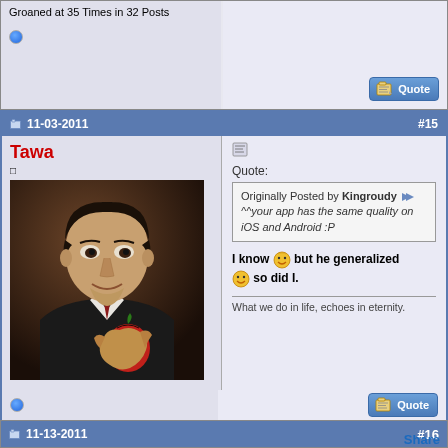Groaned at 35 Times in 32 Posts
[Figure (screenshot): Forum post by user Tawa with avatar photo of young Steve Jobs holding an apple. Post content quotes Kingroudy and responds about app quality. User stats shown in left column.]
11-03-2011 #15
Tawa
Last Online: 12-20-2021
Join Date: Mar 2006
Posts: 6,245
Thanks: 2,121
Thanked 3,365 Times in 1,740 Posts
Groans: 29
Groaned at 44 Times in 35 Posts
Quote:
Originally Posted by Kingroudy
^^your app has the same quality on iOS and Android :P
I know but he generalized so did I.
What we do in life, echoes in eternity.
11-13-2011 #16
Share